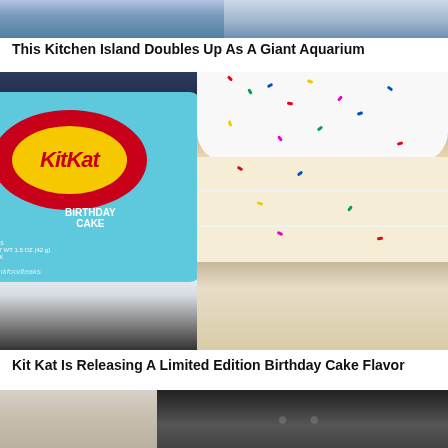[Figure (photo): Top partial images showing aquarium kitchen island]
This Kitchen Island Doubles Up As A Giant Aquarium
[Figure (photo): Left: Kit Kat Birthday Cake flavor package (@junkfoodleaks). Right: Slice of birthday cake with white frosting and colorful sprinkles.]
Kit Kat Is Releasing A Limited Edition Birthday Cake Flavor
[Figure (photo): Bottom partial images, two side-by-side photos partially visible]